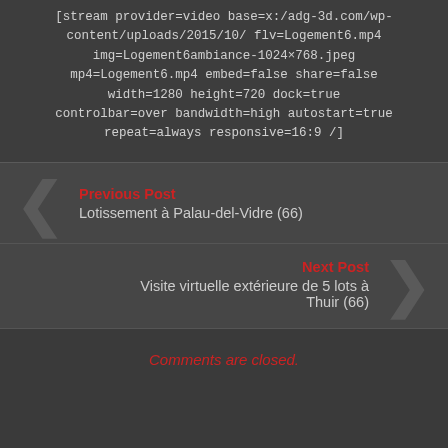[stream provider=video base=x:/adg-3d.com/wp-content/uploads/2015/10/ flv=Logement6.mp4 img=Logement6ambiance-1024×768.jpeg mp4=Logement6.mp4 embed=false share=false width=1280 height=720 dock=true controlbar=over bandwidth=high autostart=true repeat=always responsive=16:9 /]
Previous Post
Lotissement à Palau-del-Vidre (66)
Next Post
Visite virtuelle extérieure de 5 lots à Thuir (66)
Comments are closed.